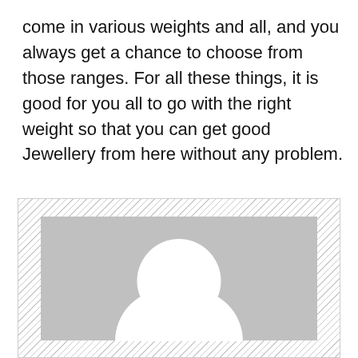come in various weights and all, and you always get a chance to choose from those ranges. For all these things, it is good for you all to go with the right weight so that you can get good Jewellery from here without any problem.
[Figure (illustration): A placeholder avatar image: a gray square background with a white circle representing a head and a white rounded rectangle below representing a body/shoulders, set on a hatched background.]